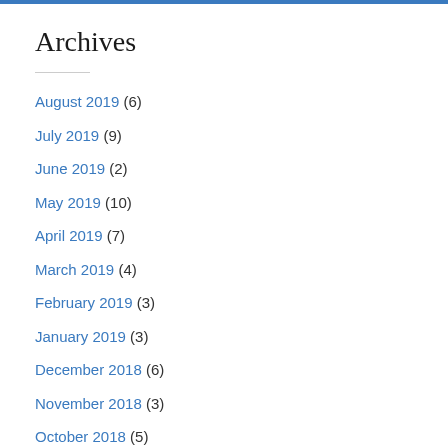Archives
August 2019 (6)
July 2019 (9)
June 2019 (2)
May 2019 (10)
April 2019 (7)
March 2019 (4)
February 2019 (3)
January 2019 (3)
December 2018 (6)
November 2018 (3)
October 2018 (5)
September 2018 (3)